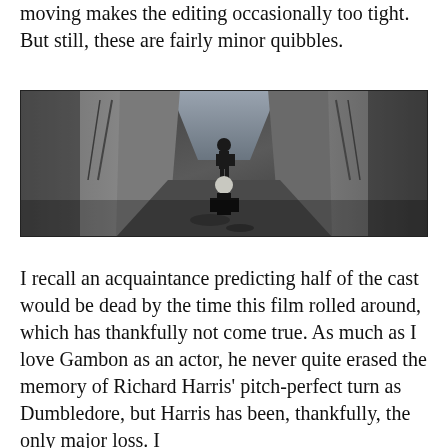moving makes the editing occasionally too tight. But still, these are fairly minor quibbles.
[Figure (photo): A dark cinematic still showing two figures in a stone corridor or dungeon setting with chains and massive stone slabs, filmed from above.]
I recall an acquaintance predicting half of the cast would be dead by the time this film rolled around, which has thankfully not come true. As much as I love Gambon as an actor, he never quite erased the memory of Richard Harris' pitch-perfect turn as Dumbledore, but Harris has been, thankfully, the only major loss. I